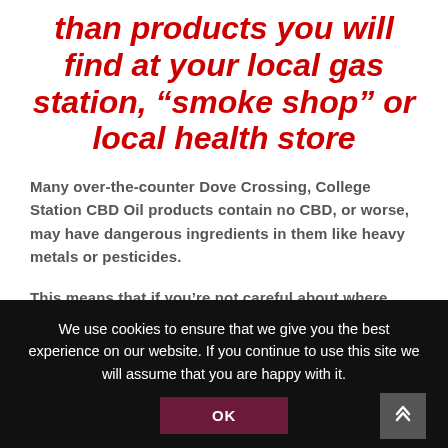than products you will find at your local gas station, “smoke shop” or local health store
Many over-the-counter Dove Crossing, College Station CBD Oil products contain no CBD, or worse, may have dangerous ingredients in them like heavy metals or pesticides.
This means that if you’re not careful about where
We use cookies to ensure that we give you the best experience on our website. If you continue to use this site we will assume that you are happy with it.